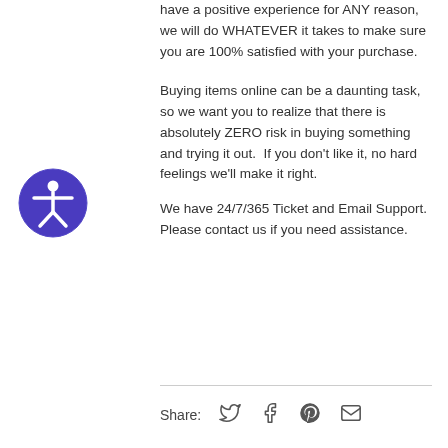have a positive experience for ANY reason, we will do WHATEVER it takes to make sure you are 100% satisfied with your purchase.
[Figure (illustration): Accessibility icon: a dark blue/purple circle with a white human figure in a star-pose (arms and legs spread), representing website accessibility.]
Buying items online can be a daunting task, so we want you to realize that there is absolutely ZERO risk in buying something and trying it out.  If you don't like it, no hard feelings we'll make it right.
We have 24/7/365 Ticket and Email Support. Please contact us if you need assistance.
Share: